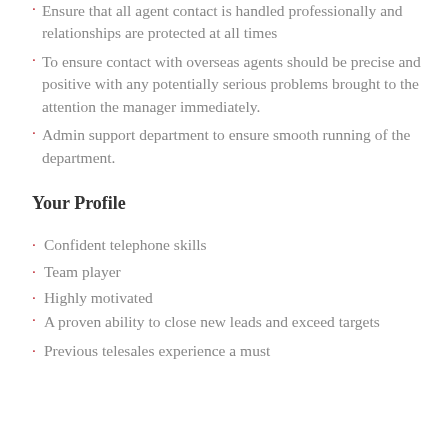Ensure that all agent contact is handled professionally and relationships are protected at all times
To ensure contact with overseas agents should be precise and positive with any potentially serious problems brought to the attention the manager immediately.
Admin support department to ensure smooth running of the department.
Your Profile
Confident telephone skills
Team player
Highly motivated
A proven ability to close new leads and exceed targets
Previous telesales experience a must